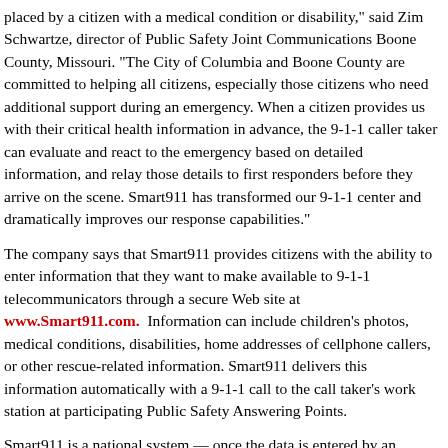placed by a citizen with a medical condition or disability," said Zim Schwartze, director of Public Safety Joint Communications Boone County, Missouri. "The City of Columbia and Boone County are committed to helping all citizens, especially those citizens who need additional support during an emergency. When a citizen provides us with their critical health information in advance, the 9-1-1 caller taker can evaluate and react to the emergency based on detailed information, and relay those details to first responders before they arrive on the scene. Smart911 has transformed our 9-1-1 center and dramatically improves our response capabilities."
The company says that Smart911 provides citizens with the ability to enter information that they want to make available to 9-1-1 telecommunicators through a secure Web site at www.Smart911.com. Information can include children's photos, medical conditions, disabilities, home addresses of cellphone callers, or other rescue-related information. Smart911 delivers this information automatically with a 9-1-1 call to the call taker's work station at participating Public Safety Answering Points.
Smart911 is a national system — once the data is entered by an individual, the data is delivered with a 9-1-1 call to any PSAP that has deployed Smart911 across the United States.